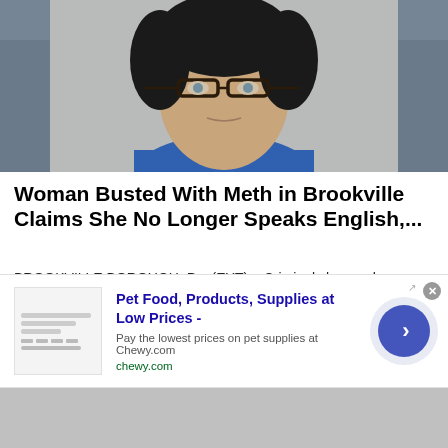[Figure (photo): Mugshot photo of a woman with dark hair, glasses, wearing a blue top, against a gray wall background]
Woman Busted With Meth in Brookville Claims She No Longer Speaks English,...
BROOKVILLE BOROUGH, Pa. (EYT) – Criminal charges have been filed against an area woman who was busted ...
Explore Jefferson
[Figure (photo): Partial image of a second news article showing a building exterior]
[Figure (screenshot): Advertisement overlay: Pet Food, Products, Supplies at Low Prices - Pay the lowest prices on pet supplies at Chewy.com, chewy.com, with close button and arrow button]